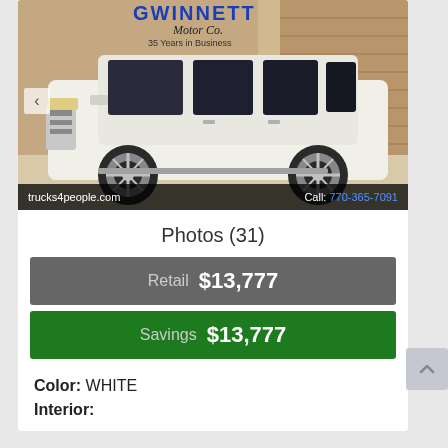[Figure (photo): White Chevrolet Suburban SUV parked in a lot, shown from the front-left side. Dealership watermark 'GWINNETT Motor Co. 35 Years in Business' visible at top. Bottom bar shows 'trucks4people.com' and 'Call: 770-365-7091'.]
Photos (31)
Retail  $13,777
Savings  $13,777
Color: WHITE
Interior: